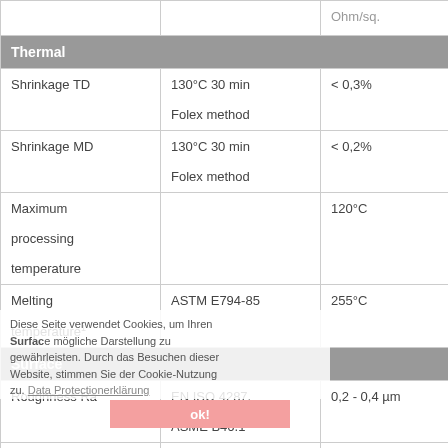| Property | Method/Condition | Value |
| --- | --- | --- |
|  |  | Ohm/sq. |
| Thermal |  |  |
| Shrinkage TD | 130°C 30 min
Folex method | < 0,3% |
| Shrinkage MD | 130°C 30 min
Folex method | < 0,2% |
| Maximum processing temperature |  | 120°C |
| Melting temperature¹ | ASTM E794-85 | 255°C |
| Surface |  |  |
| Roughness Ra | EN ISO 4287, ASME B46.1 | 0,2 - 0,4 µm |
| Scratch resistance | Folex method | partly |